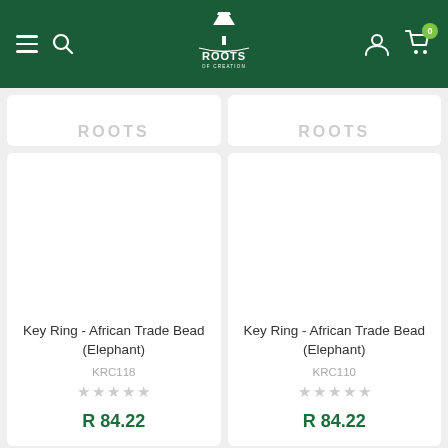Roots of Creation — navigation header with logo, search, account, and cart
[Figure (screenshot): Partially visible product cards at top of page showing 'ROOTS' watermark text]
Key Ring - African Trade Bead (Elephant)
KRC118
R 84.22
Key Ring - African Trade Bead (Elephant)
KRC110
R 84.22
[Figure (screenshot): Partially visible product cards at bottom of page]